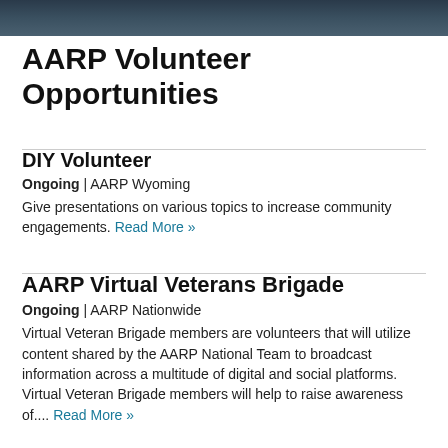[Figure (photo): Dark photo strip at top of page showing people or outdoor scene]
AARP Volunteer Opportunities
DIY Volunteer
Ongoing | AARP Wyoming
Give presentations on various topics to increase community engagements. Read More »
AARP Virtual Veterans Brigade
Ongoing | AARP Nationwide
Virtual Veteran Brigade members are volunteers that will utilize content shared by the AARP National Team to broadcast information across a multitude of digital and social platforms. Virtual Veteran Brigade members will help to raise awareness of.... Read More »